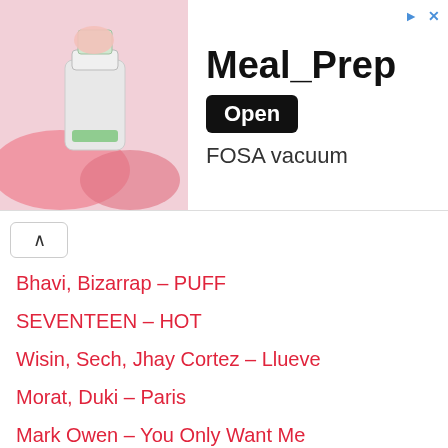[Figure (photo): Advertisement banner showing a food blender/vacuum device (FOSA vacuum) with the app name Meal_Prep and an Open button]
Bhavi, Bizarrap – PUFF
SEVENTEEN – HOT
Wisin, Sech, Jhay Cortez – Llueve
Morat, Duki – Paris
Mark Owen – You Only Want Me
Alejandro Lerner, Rusherking – Después De Ti
Rina Sawayama – This Hell
Cazzu – Jefa
Kevin Johansen – A Little Respect
The Chainsmokers – Maradona